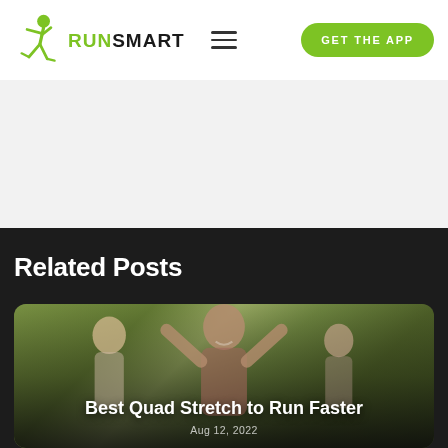[Figure (logo): RunSmart logo with green running figure icon and text 'RUNSMART' where RUN is green and SMART is black]
[Figure (infographic): Hamburger menu icon (three horizontal lines)]
[Figure (other): Green rounded pill button reading GET THE APP]
Related Posts
[Figure (photo): Photo of women runners celebrating, one with arms raised, with overlay text 'Best Quad Stretch to Run Faster' and date 'Aug 12, 2022']
Best Quad Stretch to Run Faster
Aug 12, 2022